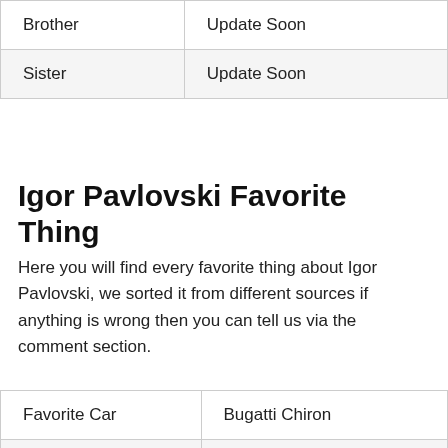| Brother | Update Soon |
| Sister | Update Soon |
Igor Pavlovski Favorite Thing
Here you will find every favorite thing about Igor Pavlovski, we sorted it from different sources if anything is wrong then you can tell us via the comment section.
| Favorite Car | Bugatti Chiron |
| Favorite Color | Navy |
| Favorite Bike | ROYAL ENFIELD |